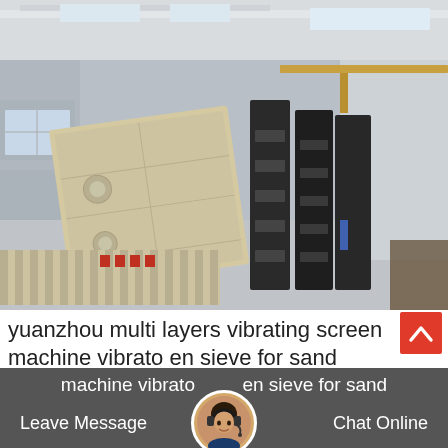[Figure (photo): Industrial warehouse interior with large beige/cream colored vibrating screen machines and black metal screen frames stacked and leaning against each other on a concrete floor. The warehouse has metal roof trusses with skylights and an overhead crane.]
yuanzhou multi layers vibrating screen machine vibrato en sieve for sand
Leave Message
Chat Online